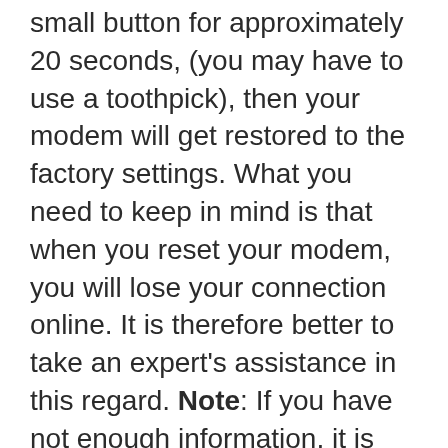small button for approximately 20 seconds, (you may have to use a toothpick), then your modem will get restored to the factory settings. What you need to keep in mind is that when you reset your modem, you will lose your connection online. It is therefore better to take an expert's assistance in this regard. Note: If you have not enough information, it is obviously recommended that you should get help from a person who has all the knowledge about this topic.
Popular Router IPs
192.168.1.1